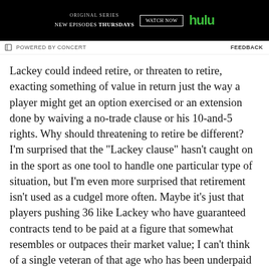[Figure (screenshot): Hulu advertisement banner with black background showing 'ORIGINAL SERIES NEW EPISODES THURSDAYS' text, a WATCH NOW button, and the Hulu logo in green.]
POWERED BY CONCERT   FEEDBACK
Lackey could indeed retire, or threaten to retire, exacting something of value in return just the way a player might get an option exercised or an extension done by waiving a no-trade clause or his 10-and-5 rights. Why should threatening to retire be different? I'm surprised that the "Lackey clause" hasn't caught on in the sport as one tool to handle one particular type of situation, but I'm even more surprised that retirement isn't used as a cudgel more often. Maybe it's just that players pushing 36 like Lackey who have guaranteed contracts tend to be paid at a figure that somewhat resembles or outpaces their market value; I can't think of a single veteran of that age who has been underpaid by more than a factor of ten.